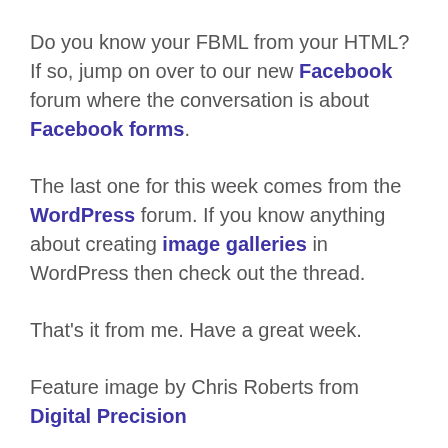Do you know your FBML from your HTML? If so, jump on over to our new Facebook forum where the conversation is about Facebook forms.
The last one for this week comes from the WordPress forum. If you know anything about creating image galleries in WordPress then check out the thread.
That's it from me. Have a great week.
Feature image by Chris Roberts from Digital Precision